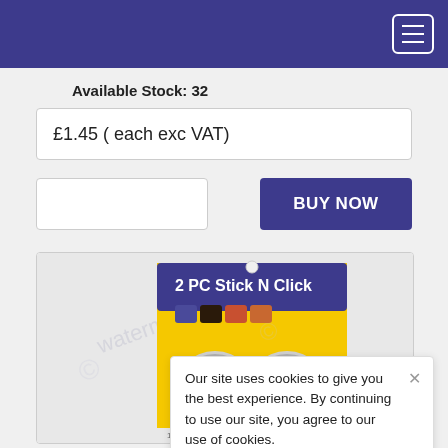Navigation header with menu button
Available Stock: 32
£1.45 ( each exc VAT)
BUY NOW
[Figure (photo): Product photo of 2 PC Stick N Click LED lights in yellow and blue blister pack, showing two round silver puck-shaped lights with watermark overlay]
Our site uses cookies to give you the best experience. By continuing to use our site, you agree to our use of cookies.